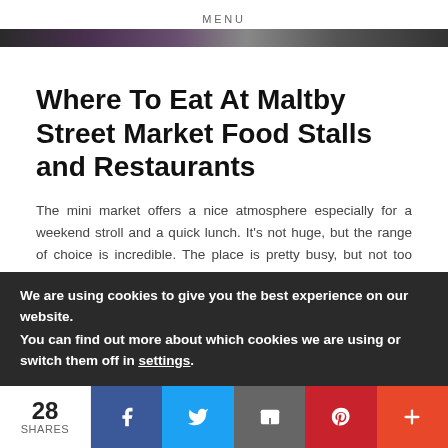MENU
[Figure (photo): Dark colored hero image strip at top of article]
Where To Eat At Maltby Street Market Food Stalls and Restaurants
The mini market offers a nice atmosphere especially for a weekend stroll and a quick lunch. It's not huge, but the range of choice is incredible. The place is pretty busy, but not too crowded, so I was very happy to learn you can still move around without feeling crushed or rushed along.
We are using cookies to give you the best experience on our website.
You can find out more about which cookies we are using or switch them off in settings.
28 SHARES